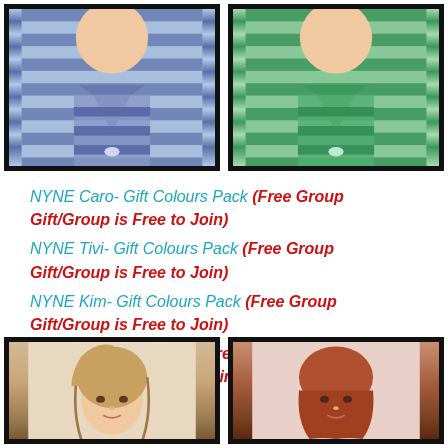[Figure (illustration): Two female avatar figures wearing striped tops - left figure in blue/white horizontal stripes, right figure in green/white horizontal stripes]
NYNE Caro- Gift Colours Pack (Free Group Gift/Group is Free to Join)
NYNE Tivi- Gift Colours Pack (Free Group Gift/Group is Free to Join)
NYNE Kim- Gift Colours Pack (Free Group Gift/Group is Free to Join)
NYNE Elly- Lucky Pack (Free Lucky Letter Prize/Group is Free to Join)
[Figure (illustration): Two female avatar heads/hair styles - left figure with medium brown hair, right figure with auburn/reddish-brown hair]